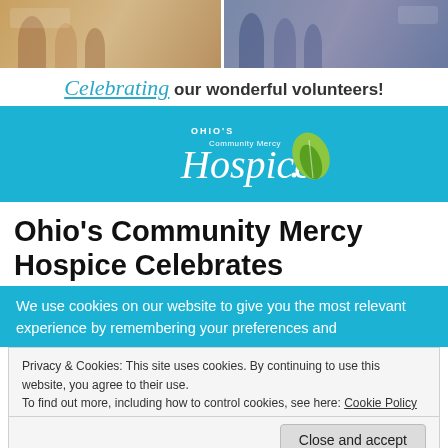[Figure (photo): Two side-by-side photos of volunteers at a celebration event]
Celebrating our wonderful volunteers!
[Figure (logo): Ohio's Community Mercy Hospice logo on teal/blue background]
Ohio's Community Mercy Hospice Celebrates
We use cookies on our website to give you the most relevant experience by remembering your preferences and
Privacy & Cookies: This site uses cookies. By continuing to use this website, you agree to their use.
To find out more, including how to control cookies, see here: Cookie Policy
Close and accept